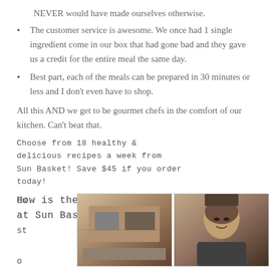NEVER would have made ourselves otherwise.
The customer service is awesome. We once had 1 single ingredient come in our box that had gone bad and they gave us a credit for the entire meal the same day.
Best part, each of the meals can be prepared in 30 minutes or less and I don't even have to shop.
All this AND we get to be gourmet chefs in the comfort of our kitchen. Can't beat that.
Choose from 18 healthy & delicious recipes a week from Sun Basket! Save $45 if you order today!
How is the customer service at Sun Basket?
Cu
st
o
[Figure (photo): Two photos side by side: left shows a kitchen scene, right shows a man's face/portrait]